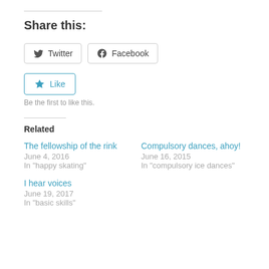Share this:
[Figure (other): Twitter and Facebook share buttons]
[Figure (other): Like button with star icon]
Be the first to like this.
Related
The fellowship of the rink
June 4, 2016
In "happy skating"
Compulsory dances, ahoy!
June 16, 2015
In "compulsory ice dances"
I hear voices
June 19, 2017
In "basic skills"